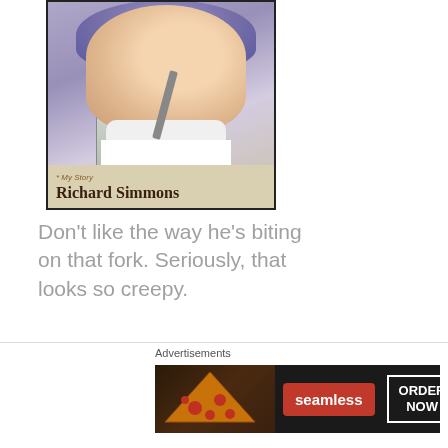[Figure (photo): Book cover of Richard Simmons memoir showing him biting a fork, with a white label sticker covering the title, text 'My Story' and 'Richard Simmons' on the cover]
Don't like the way he's biting on that fork. Seriously, that looks so creepy.
Learn about the life of fitness guru Richard Simmons.
52. Rosey Grier's Needlepoint for Men by Rosey Grier
[Figure (other): Seamless food delivery advertisement banner showing pizza slices, Seamless logo, and ORDER NOW button]
Advertisements